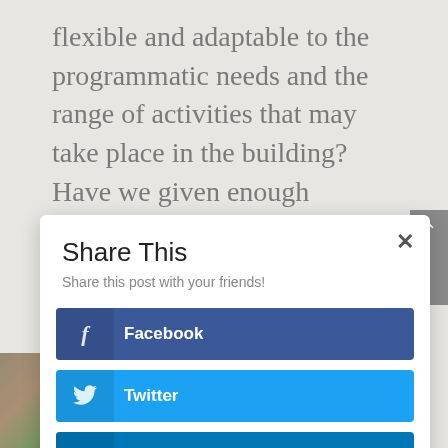flexible and adaptable to the programmatic needs and the range of activities that may take place in the building? Have we given enough thought to the amenities?
[Figure (screenshot): Share This social sharing modal dialog with close button (×), subtitle 'Share this post with your friends!', and three share buttons: Facebook (dark blue), Twitter (light blue), LinkedIn (medium blue)]